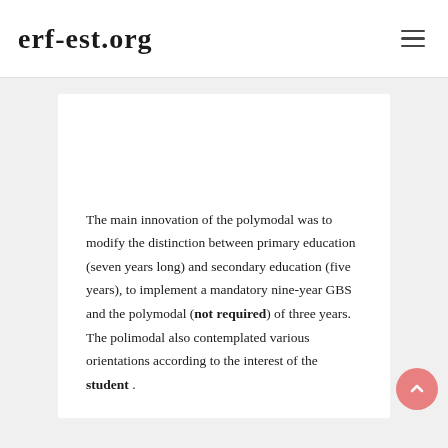erf-est.org
The main innovation of the polymodal was to modify the distinction between primary education (seven years long) and secondary education (five years), to implement a mandatory nine-year GBS and the polymodal (not required) of three years. The polimodal also contemplated various orientations according to the interest of the student .